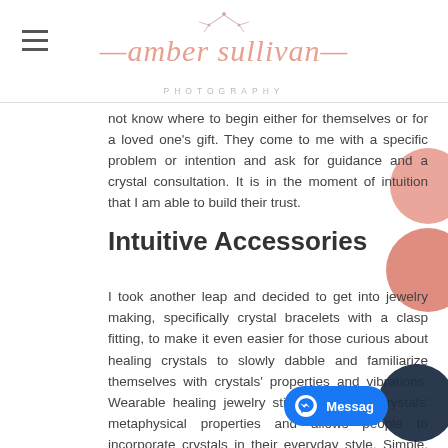amber sullivan PHOTOGRAPHY
not know where to begin either for themselves or for a loved one's gift. They come to me with a specific problem or intention and ask for guidance and a crystal consultation. It is in the moment of intuition that I am able to build their trust.
Intuitive Accessories
I took another leap and decided to get into jewelry making, specifically crystal bracelets with a clasp fitting, to make it even easier for those curious about healing crystals to slowly dabble and familiarize themselves with crystals' properties and vibrations. Wearable healing jewelry still upholds the crystals' metaphysical properties and allows people to incorporate crystals in their everyday style. Simple, but elegantly stated, you can dress these bracelets up or down. They are perfect for a family photo session! Each strung bead is energetically programmed with its specific intention and each bracelet is